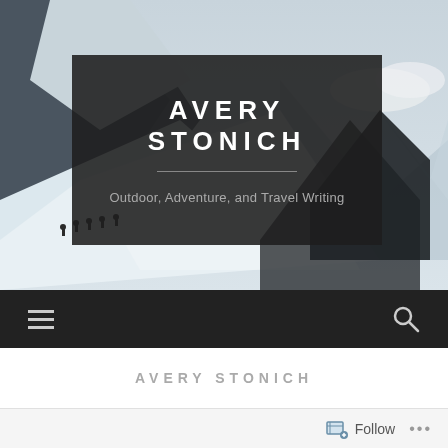[Figure (photo): Snow-covered mountain landscape with several hikers/skiers on a slope, mountains and clouds in background. Dark overlay box in center contains the site title and subtitle.]
AVERY STONICH
Outdoor, Adventure, and Travel Writing
[Figure (infographic): Dark navigation bar with hamburger menu icon on left and search (magnifying glass) icon on right]
AVERY STONICH
[Figure (infographic): Footer bar with Follow button (with icon) and ellipsis (...)]